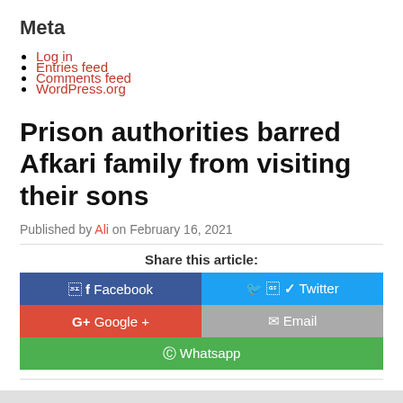Meta
Log in
Entries feed
Comments feed
WordPress.org
Prison authorities barred Afkari family from visiting their sons
Published by Ali on February 16, 2021
Share this article:
[Figure (other): Social share buttons: Facebook, Twitter, Google+, Email, Whatsapp]